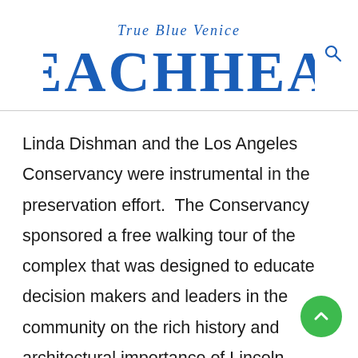True Blue Venice BEACHHEAD
Linda Dishman and the Los Angeles Conservancy were instrumental in the preservation effort.  The Conservancy sponsored a free walking tour of the complex that was designed to educate decision makers and leaders in the community on the rich history and architectural importance of Lincoln Place.  Linda also provided testimony in